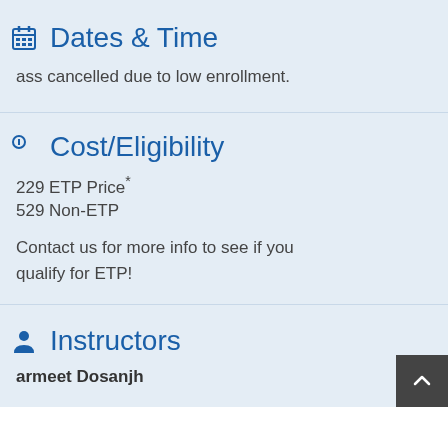Dates & Time
ass cancelled due to low enrollment.
Cost/Eligibility
229 ETP Price*
529 Non-ETP
Contact us for more info to see if you qualify for ETP!
Instructors
armeet Dosanjh